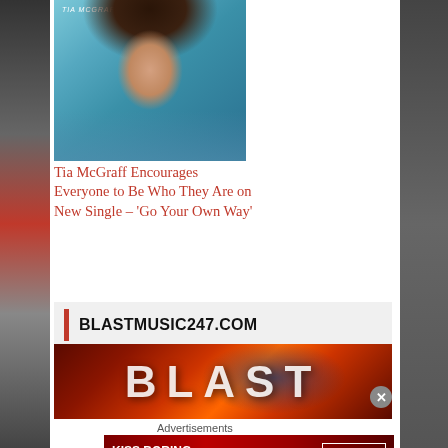[Figure (photo): Photo of Tia McGraff with blue flowers background, text 'TIA MCGRAFF' visible at top]
Tia McGraff Encourages Everyone to Be Who They Are on New Single – 'Go Your Own Way'
June 24, 2022
In "Artist / Musician"
BLASTMUSIC247.COM
[Figure (photo): Blast Music 247 banner with globe and large BLAST text on fiery orange-red background]
Advertisements
[Figure (photo): Macy's advertisement: KISS BORING LIPS GOODBYE with red lips photo, SHOP NOW button and macys logo]